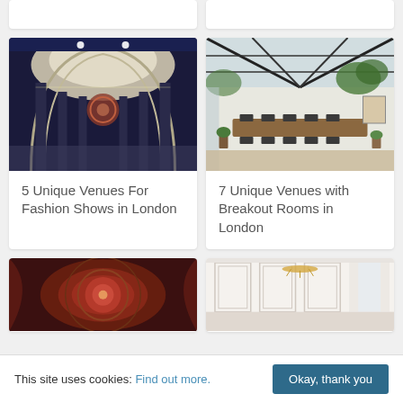[Figure (photo): Grand hall interior with arched glass ceiling, columns, and ornate architecture]
5 Unique Venues For Fashion Shows in London
[Figure (photo): Modern greenhouse-style event space with exposed steel beams, plants, and dining tables]
7 Unique Venues with Breakout Rooms in London
[Figure (photo): Ornate theatre ceiling with red decorative details]
[Figure (photo): Elegant white room with chandelier and tall windows]
This site uses cookies: Find out more.